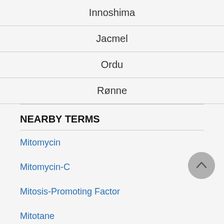Innoshima
Jacmel
Ordu
Rønne
NEARBY TERMS
Mitomycin
Mitomycin-C
Mitosis-Promoting Factor
Mitotane